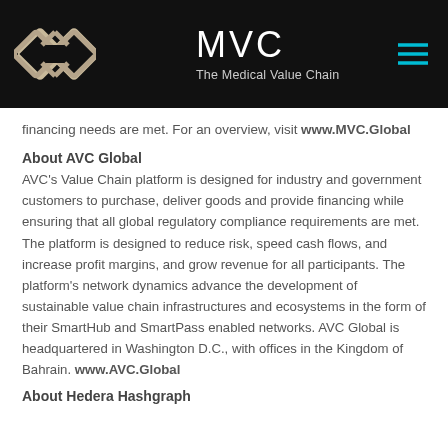MVC The Medical Value Chain
financing needs are met. For an overview, visit www.MVC.Global
About AVC Global
AVC's Value Chain platform is designed for industry and government customers to purchase, deliver goods and provide financing while ensuring that all global regulatory compliance requirements are met. The platform is designed to reduce risk, speed cash flows, and increase profit margins, and grow revenue for all participants. The platform's network dynamics advance the development of sustainable value chain infrastructures and ecosystems in the form of their SmartHub and SmartPass enabled networks. AVC Global is headquartered in Washington D.C., with offices in the Kingdom of Bahrain. www.AVC.Global
About Hedera Hashgraph